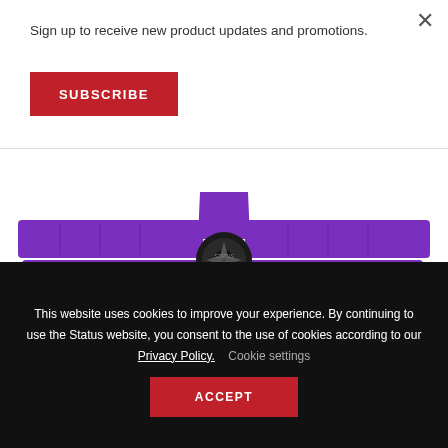Sign up to receive new product updates and promotions.
SUBSCRIBE
[Figure (photo): Purple racing harness with 5-point buckle center, spread out flat showing shoulder straps, lap straps, and crotch strap on white background]
This website uses cookies to improve your experience. By continuing to use the Status website, you consent to the use of cookies according to our Privacy Policy.   Cookie settings
ACCEPT